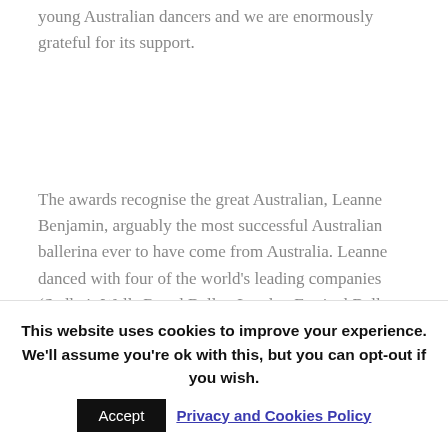young Australian dancers and we are enormously grateful for its support.
The awards recognise the great Australian, Leanne Benjamin, arguably the most successful Australian ballerina ever to have come from Australia. Leanne danced with four of the world's leading companies (Sadler's Wells Royal Ballet, London Festival Ballet, Deutsche Oper Ballet and The Royal Ballet) and worked directly with many of the legends
This website uses cookies to improve your experience. We'll assume you're ok with this, but you can opt-out if you wish.
Accept
Privacy and Cookies Policy